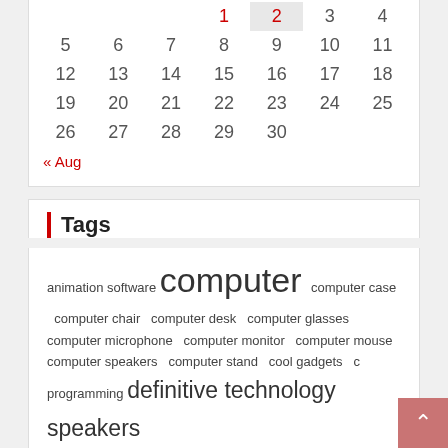| Su | Mo | Tu | We | Th | Fr | Sa |
| --- | --- | --- | --- | --- | --- | --- |
|  |  |  |  | 1 | 2 | 3 | 4 |
| 5 | 6 | 7 | 8 | 9 | 10 | 11 |
| 12 | 13 | 14 | 15 | 16 | 17 | 18 |
| 19 | 20 | 21 | 22 | 23 | 24 | 25 |
| 26 | 27 | 28 | 29 | 30 |  |  |
« Aug
Tags
animation software computer computer case computer chair computer desk computer glasses computer microphone computer monitor computer mouse computer speakers computer stand cool gadgets c programming definitive technology speakers desktop computer editing software gadget gadget guard